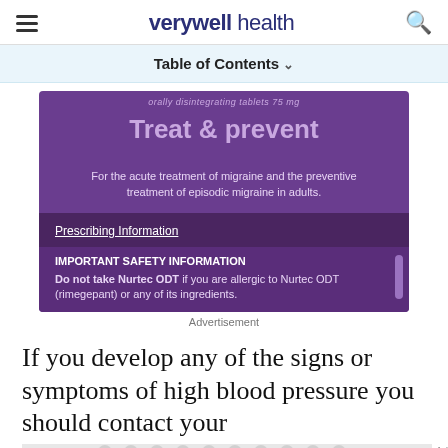verywell health
Table of Contents
[Figure (photo): Advertisement for Nurtec ODT (rimegepant) migraine medication on a purple background. Shows text: 'orally disintegrating tablets 75 mg', 'Treat & prevent', 'For the acute treatment of migraine and the preventive treatment of episodic migraine in adults.', 'Prescribing Information', 'IMPORTANT SAFETY INFORMATION', 'Do not take Nurtec ODT if you are allergic to Nurtec ODT (rimegepant) or any of its ingredients.']
Advertisement
If you develop any of the signs or symptoms of high blood pressure you should contact your
[Figure (other): Advertisement placeholder with grey dot/circle pattern on light background]